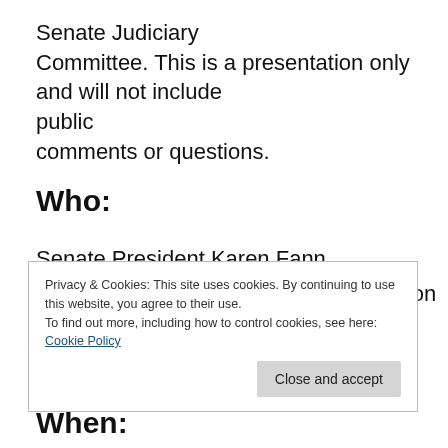Senate Judiciary Committee. This is a presentation only and will not include public comments or questions.
Who:
Senate President Karen Fann
Judiciary Chair Senator Warren Peterson
Doug Logan, Cyber Ninjas CEO
Ben Cotton, CyFIR founder
Privacy & Cookies: This site uses cookies. By continuing to use this website, you agree to their use. To find out more, including how to control cookies, see here: Cookie Policy
When: